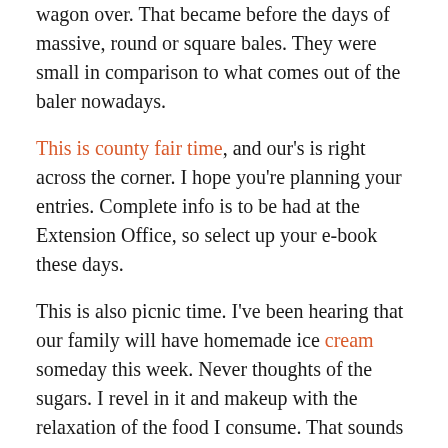wagon over. That became before the days of massive, round or square bales. They were small in comparison to what comes out of the baler nowadays.
This is county fair time, and our's is right across the corner. I hope you're planning your entries. Complete info is to be had at the Extension Office, so select up your e-book these days.
This is also picnic time. I've been hearing that our family will have homemade ice cream someday this week. Never thoughts of the sugars. I revel in it and makeup with the relaxation of the food I consume. That sounds like a fantastic idea to chill off.
When it involves curating the appropriate unfold for the Fourth of July, there are a few expected classics, like burgers and juicy chunks of watermelon. But it's the sudden dishes that unavoidably thieve the show. Part completely creative, part why didn't I think of that? A show-stopping Independence Day dish is festive, flavorful, and a chunk of a